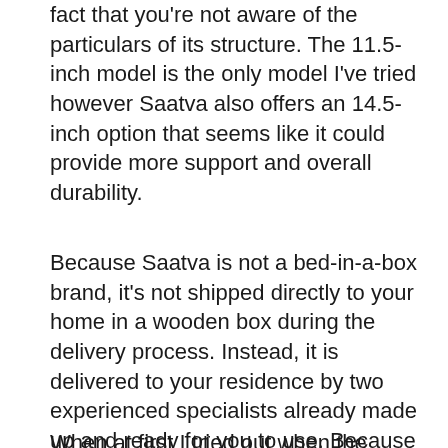fact that you're not aware of the particulars of its structure. The 11.5-inch model is the only model I've tried however Saatva also offers an 14.5-inch option that seems like it could provide more support and overall durability.
Because Saatva is not a bed-in-a-box brand, it's not shipped directly to your home in a wooden box during the delivery process. Instead, it is delivered to your residence by two experienced specialists already made up and ready for you to use. Because it is a heavy mattress, this makes it easier to avoid the laborious task of putting it together and shifting it around.
When at first I tried out when the mattress...